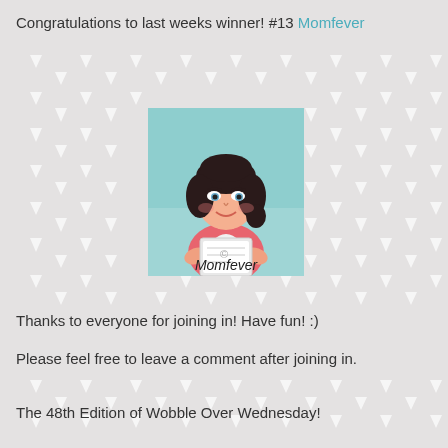Congratulations to last weeks winner! #13 Momfever
[Figure (illustration): Illustrated cartoon of a woman with dark hair wearing a pink top, reading/holding a book or tablet, with 'Momfever' text handwritten below her, on a teal/light blue background square]
Thanks to everyone for joining in! Have fun! :)
Please feel free to leave a comment after joining in.
The 48th Edition of Wobble Over Wednesday!